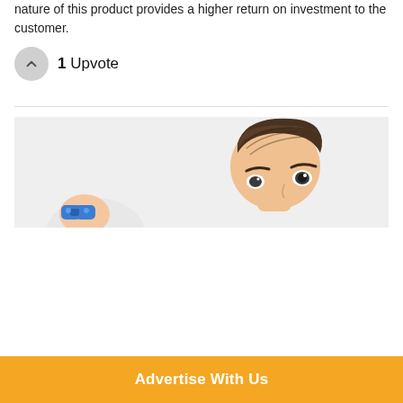nature of this product provides a higher return on investment to the customer.
1 Upvote
[Figure (illustration): Cartoon illustration of a person with dark brown swept-back hair looking through binoculars, shown cropped from the chest up against a light grey background.]
Advertise With Us